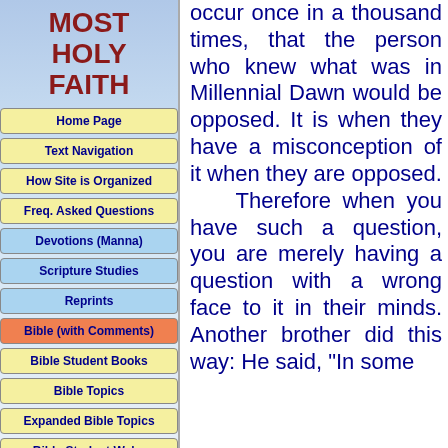MOST HOLY FAITH
Home Page
Text Navigation
How Site is Organized
Freq. Asked Questions
Devotions (Manna)
Scripture Studies
Reprints
Bible (with Comments)
Bible Student Books
Bible Topics
Expanded Bible Topics
Bible Student Webs
Miscellaneous
occur once in a thousand times, that the person who knew what was in Millennial Dawn would be opposed. It is when they have a misconception of it when they are opposed. Therefore when you have such a question, you are merely having a question with a wrong face to it in their minds. Another brother did this way: He said, "In some